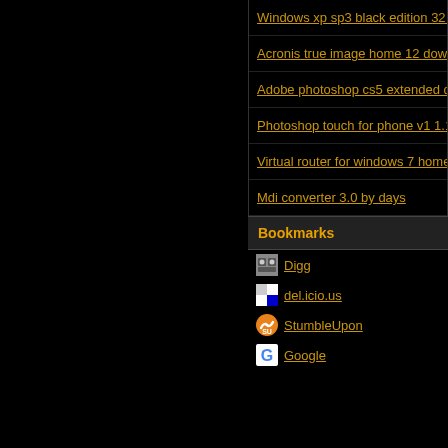Windows xp sp3 black edition 32 b
Acronis true image home 12 down
Adobe photoshop cs5 extended dy
Photoshop touch for phone v1 1.1
Virtual router for windows 7 home
Mdi converter 3.0 by days
Bookmarks
Digg
del.icio.us
StumbleUpon
Google